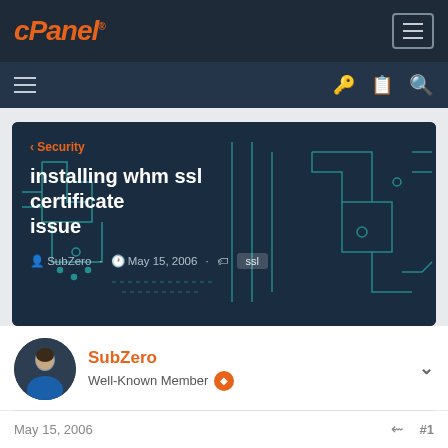cPanel
[Figure (screenshot): cPanel forum hero banner with teal geometric circuit-board line art on dark navy background, showing breadcrumb < Security, title 'installing whm ssl certificate issue', author SubZero, date May 15, 2006, tag ssl]
installing whm ssl certificate issue
SubZero · May 15, 2006 · ssl
SubZero
Well-Known Member
May 15, 2006   #1
Today my ssl certificate expired and I want to renew it. got the cert file from the server and want to upload.